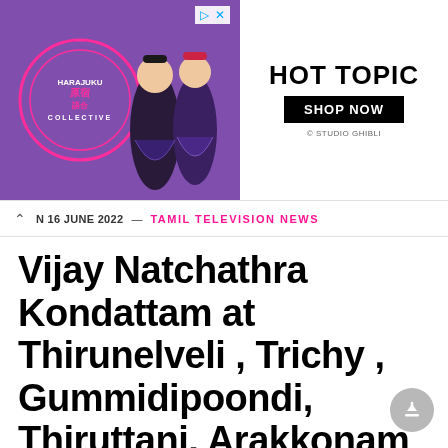[Figure (screenshot): Hot Topic advertisement banner featuring two anime-styled characters in purple/black outfits with 'Harajuku Collective' circular logo on the left, and 'HOT TOPIC / SHOP NOW / © STUDIO GHIBLI' text on white background on the right. Ad close icons in top right corner.]
16 JUNE 2022 — TAMIL TELEVISION NEWS
Vijay Natchathra Kondattam at Thirunelveli , Trichy , Gummidipoondi, Thiruttani, Arakkonam